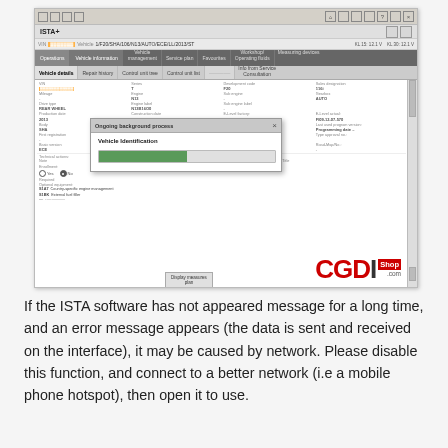[Figure (screenshot): ISTA+ diagnostic software screenshot showing Vehicle Identification dialog with an ongoing background process modal and progress bar. The vehicle info shows VIN, series T, engine N13, body SHA, gearbox AUTO. A CGDIShop.com watermark logo appears in the bottom right of the screenshot.]
If the ISTA software has not appeared message for a long time, and an error message appears (the data is sent and received on the interface), it may be caused by network. Please disable this function, and connect to a better network (i.e a mobile phone hotspot), then open it to use.